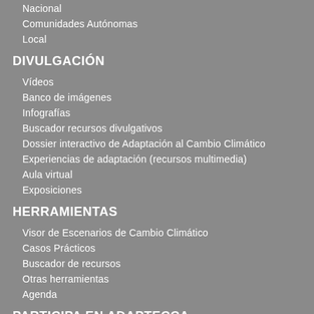Nacional
Comunidades Autónomas
Local
DIVULGACIÓN
Vídeos
Banco de imágenes
Infografías
Buscador recursos divulgativos
Dossier interactivo de Adaptación al Cambio Climático
Experiencias de adaptación (recursos multimedia)
Aula virtual
Exposiciones
HERRAMIENTAS
Visor de Escenarios de Cambio Climático
Casos Prácticos
Buscador de recursos
Otras herramientas
Agenda
PARTICIPA EN ADAPTECCA